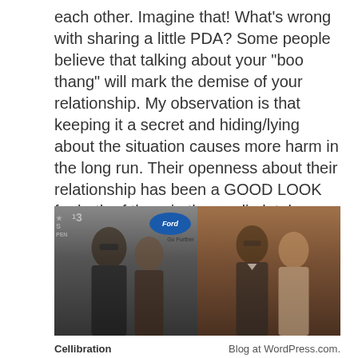each other. Imagine that! What's wrong with sharing a little PDA? Some people believe that talking about your "boo thang" will mark the demise of your relationship. My observation is that keeping it a secret and hiding/lying about the situation causes more harm in the long run. Their openness about their relationship has been a GOOD LOOK for both of them in the media lately. They definitely are becoming a true power couple.
[Figure (photo): Two side-by-side photos of couples. Left photo shows a man with dreadlocks wearing sunglasses and a woman with short hair at what appears to be a BET awards event with Ford branding. Right photo shows a man in a tuxedo with sunglasses and a woman with long blonde hair at a formal event.]
Cellibration    Blog at WordPress.com.